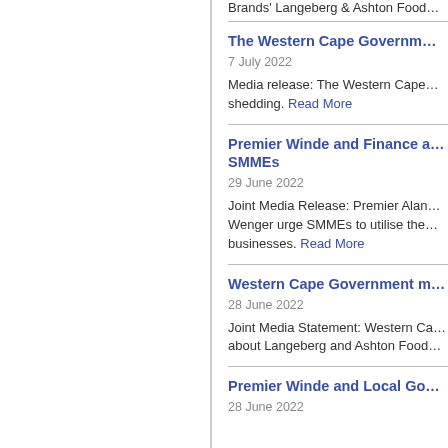Brands' Langeberg & Ashton Food...
The Western Cape Governm...
7 July 2022
Media release: The Western Cape... shedding. Read More
Premier Winde and Finance a... SMMEs
29 June 2022
Joint Media Release: Premier Alan Wenger urge SMMEs to utilise the businesses. Read More
Western Cape Government m...
28 June 2022
Joint Media Statement: Western Ca... about Langeberg and Ashton Food
Premier Winde and Local Go...
28 June 2022